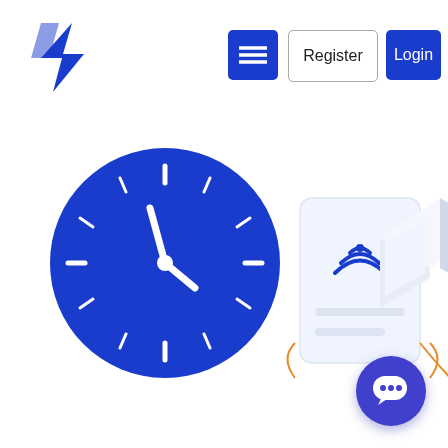[Figure (screenshot): Website navigation bar with a blue logo mark on the left, a hamburger menu icon button, a Register button with border, and a Login button with blue background. Below the nav bar is a partial illustration showing a blue clock, a contactless payment card with WiFi signal, and an isometric laptop/device graphic with orange arrow accents.]
[Figure (illustration): Chat support button in bottom right corner: a filled blue/purple circle with a speech bubble icon containing three dots (ellipsis).]